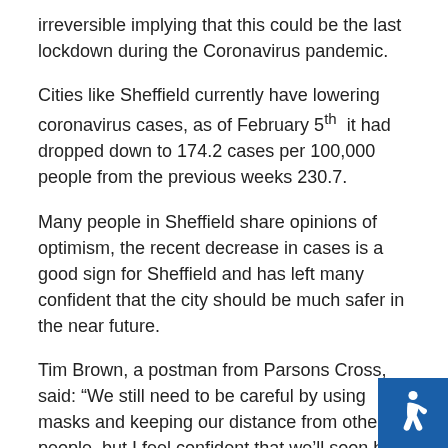irreversible implying that this could be the last lockdown during the Coronavirus pandemic.
Cities like Sheffield currently have lowering coronavirus cases, as of February 5th it had dropped down to 174.2 cases per 100,000 people from the previous weeks 230.7.
Many people in Sheffield share opinions of optimism, the recent decrease in cases is a good sign for Sheffield and has left many confident that the city should be much safer in the near future.
Tim Brown, a postman from Parsons Cross, said: “We still need to be careful by using masks and keeping our distance from other people, but I feel confident that we’ll soon be able to start going outside and opening shops again soon.” He also said that he’s sure the government must have learnt from their earlier mistakes and that they’ll be able to ease restrictions in a more suitable way this time around.
Others are more optimistic about the people’s behaviour.